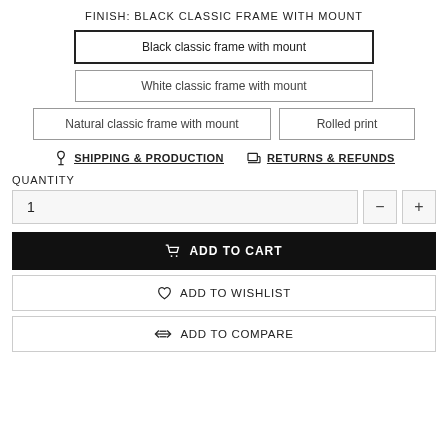FINISH: BLACK CLASSIC FRAME WITH MOUNT
Black classic frame with mount
White classic frame with mount
Natural classic frame with mount
Rolled print
SHIPPING & PRODUCTION
RETURNS & REFUNDS
QUANTITY
1
ADD TO CART
ADD TO WISHLIST
ADD TO COMPARE